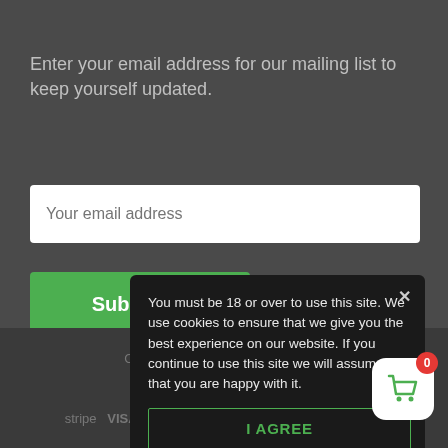Enter your email address for our mailing list to keep yourself updated.
[Figure (screenshot): Email input field with placeholder text 'Your email address']
[Figure (screenshot): Green Subscribe button]
You must be 18 or over to use this site. We use cookies to ensure that we give you the best experience on our website. If you continue to use this site we will assume that you are happy with it.
[Figure (screenshot): I AGREE button in cookie consent popup]
Copyright © 2019 Bloomin Healthy
stripe VISA MASTERCARD AMERICAN EXPRESS